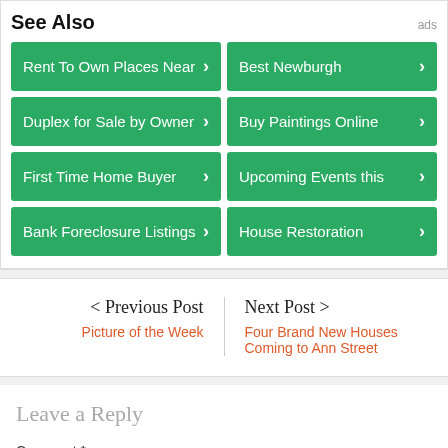See Also
Rent To Own Places Near
Best Newburgh
Duplex for Sale by Owner
Buy Paintings Online
First Time Home Buyer
Upcoming Events this
Bank Foreclosure Listings
House Restoration
< Previous Post
Picture of the Week
Next Post >
Four Brand New Houses Coming to Ann Street
Leave a Reply
Comment *